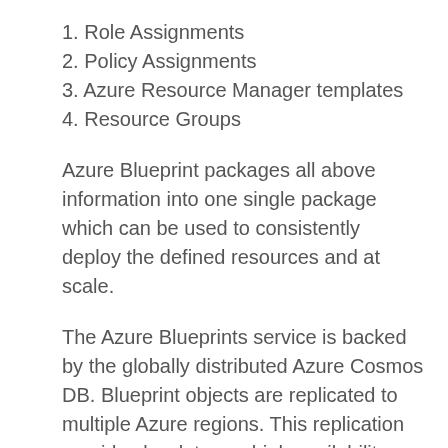1. Role Assignments
2. Policy Assignments
3. Azure Resource Manager templates
4. Resource Groups
Azure Blueprint packages all above information into one single package which can be used to consistently deploy the defined resources and at scale.
The Azure Blueprints service is backed by the globally distributed Azure Cosmos DB. Blueprint objects are replicated to multiple Azure regions. This replication provides low latency, high availability, and consistent access to your blueprint objects, regardless of which region Blueprints deploys your resources to.